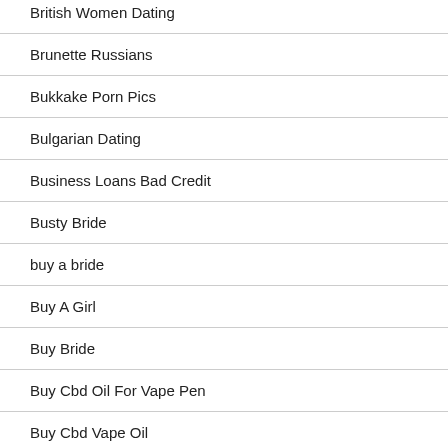British Women Dating
Brunette Russians
Bukkake Porn Pics
Bulgarian Dating
Business Loans Bad Credit
Busty Bride
buy a bride
Buy A Girl
Buy Bride
Buy Cbd Oil For Vape Pen
Buy Cbd Vape Oil
Buy Mail Order Bride